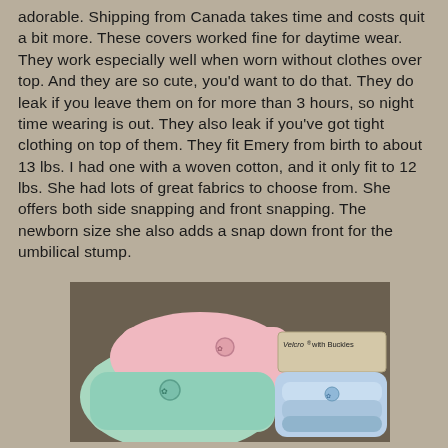adorable. Shipping from Canada takes time and costs quit a bit more. These covers worked fine for daytime wear. They work especially well when worn without clothes over top. And they are so cute, you'd want to do that. They do leak if you leave them on for more than 3 hours, so night time wearing is out. They also leak if you've got tight clothing on top of them. They fit Emery from birth to about 13 lbs. I had one with a woven cotton, and it only fit to 12 lbs. She had lots of great fabrics to choose from. She offers both side snapping and front snapping. The newborn size she also adds a snap down front for the umbilical stump.
[Figure (photo): Photo showing pastel-colored baby diaper covers (pink, mint green, blue) stacked/folded, with a product label reading 'Velcro with Buckles' visible on the right side.]